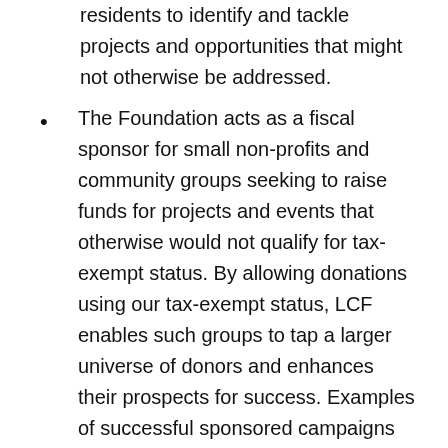residents to identify and tackle projects and opportunities that might not otherwise be addressed.
The Foundation acts as a fiscal sponsor for small non-profits and community groups seeking to raise funds for projects and events that otherwise would not qualify for tax-exempt status.  By  allowing donations using our tax-exempt status,  LCF enables such groups to tap a larger universe of donors and enhances their prospects for success. Examples of successful sponsored campaigns have been Heatherwood Park Improvements and Eagle Scout projects. Examples of groups for whom LCF continues to acts as fiscal sponsor include several Neighborhood Response Groups (NRGs) and the Larkspur Disaster Preparedness Group (LDRG), all of